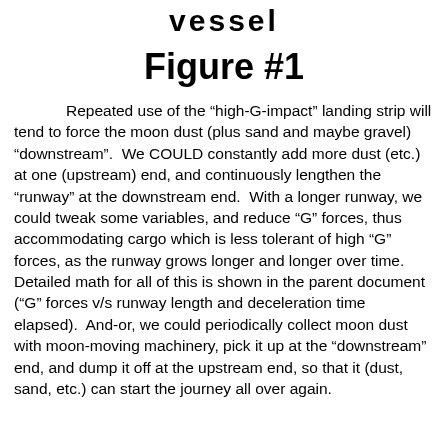vessel
Figure #1
Repeated use of the “high-G-impact” landing strip will tend to force the moon dust (plus sand and maybe gravel) “downstream”.  We COULD constantly add more dust (etc.) at one (upstream) end, and continuously lengthen the “runway” at the downstream end.  With a longer runway, we could tweak some variables, and reduce “G” forces, thus accommodating cargo which is less tolerant of high “G” forces, as the runway grows longer and longer over time.  Detailed math for all of this is shown in the parent document (“G” forces v/s runway length and deceleration time elapsed).  And-or, we could periodically collect moon dust with moon-moving machinery, pick it up at the “downstream” end, and dump it off at the upstream end, so that it (dust, sand, etc.) can start the journey all over again.